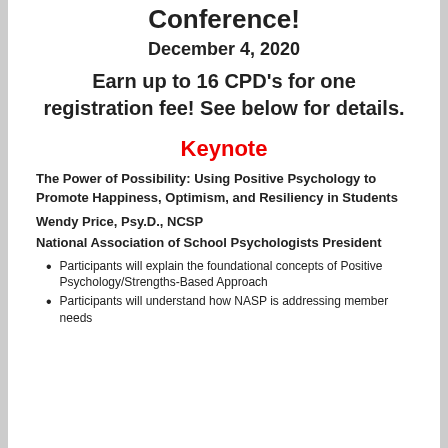Conference!
December 4, 2020
Earn up to 16 CPD's for one registration fee! See below for details.
Keynote
The Power of Possibility: Using Positive Psychology to Promote Happiness, Optimism, and Resiliency in Students
Wendy Price, Psy.D., NCSP
National Association of School Psychologists President
Participants will explain the foundational concepts of Positive Psychology/Strengths-Based Approach
Participants will understand how NASP is addressing member needs